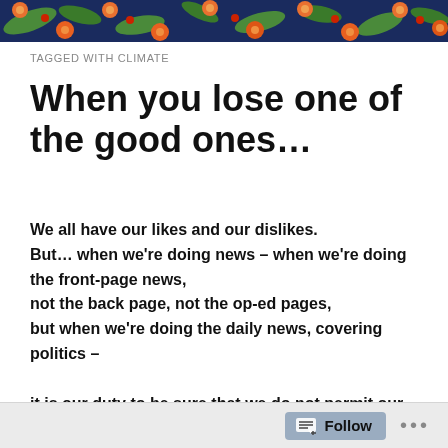[Figure (illustration): Decorative header banner with floral pattern — orange flowers, green leaves on dark navy blue background]
TAGGED WITH CLIMATE
When you lose one of the good ones…
We all have our likes and our dislikes.
But… when we're doing news – when we're doing the front-page news,
not the back page, not the op-ed pages,
but when we're doing the daily news, covering politics –

it is our duty to be sure that we do not permit our prejudices to show.
Follow